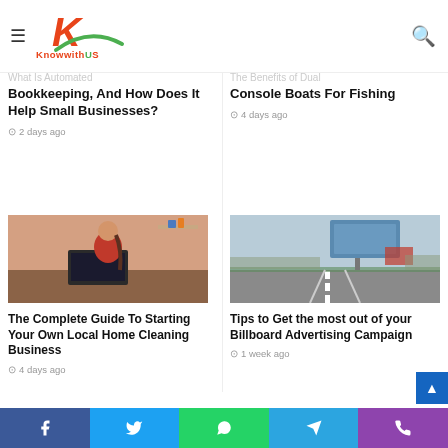[Figure (logo): KnowwithUS logo with orange K and green swoosh]
Bookkeeping, And How Does It Help Small Businesses?
2 days ago
The Benefits of Dual Console Boats For Fishing
4 days ago
[Figure (photo): Woman in red dress smiling at laptop]
The Complete Guide To Starting Your Own Local Home Cleaning Business
4 days ago
[Figure (photo): Highway with billboard advertising sign]
Tips to Get the most out of your Billboard Advertising Campaign
1 week ago